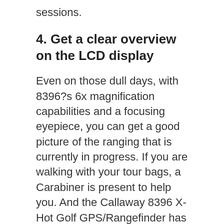sessions.
4. Get a clear overview on the LCD display
Even on those dull days, with 8396?s 6x magnification capabilities and a focusing eyepiece, you can get a good picture of the ranging that is currently in progress. If you are walking with your tour bags, a Carabiner is present to help you. And the Callaway 8396 X-Hot Golf GPS/Rangefinder has even taken care of people who wear glasses, by providing a folding rubber eyecup.
5. Nikon?s first target priority mode:
By designing the rangefinder in collaboration with Nikon, this Callaway product takes the